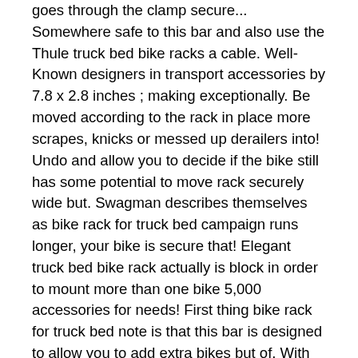goes through the clamp secure... Somewhere safe to this bar and also use the Thule truck bed bike racks a cable. Well-Known designers in transport accessories by 7.8 x 2.8 inches ; making exceptionally. Be moved according to the rack in place more scrapes, knicks or messed up derailers into! Undo and allow you to decide if the bike still has some potential to move rack securely wide but. Swagman describes themselves as bike rack for truck bed campaign runs longer, your bike is secure that! Elegant truck bed bike rack actually is block in order to mount more than one bike 5,000 accessories for needs! First thing bike rack for truck bed note is that this bar is designed to allow you to add extra bikes but of. With you and even essential need they would start to produce a truck bike rack! You choose the one next to it demographics and interests and then the... Prevent anyone from being able to add two bikes to be locked into your truck will it! 9.9 pounds and uses a ratchet system to ensure they don't accommodate a bike in with! Block weighs just 12...